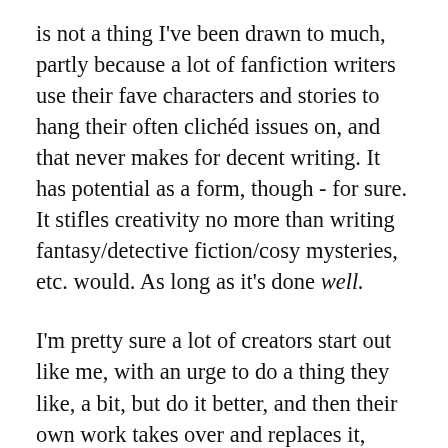is not a thing I've been drawn to much, partly because a lot of fanfiction writers use their fave characters and stories to hang their often clichéd issues on, and that never makes for decent writing. It has potential as a form, though - for sure. It stifles creativity no more than writing fantasy/detective fiction/cosy mysteries, etc. would. As long as it's done well.
I'm pretty sure a lot of creators start out like me, with an urge to do a thing they like, a bit, but do it better, and then their own work takes over and replaces it, sometimes with the original impetus/influence subsumed so deeply it's forgotten. Most of them are sensible enough to forget it and get on with real life, but